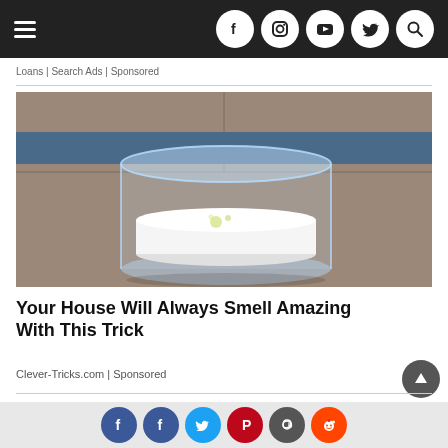Navigation bar with hamburger menu and social icons (Facebook, Instagram, YouTube, Twitter, Search)
Loans | Search Ads | Sponsored
[Figure (photo): Photo of a white disc/puck inside a clear glass cylinder container, sitting on a brown stone countertop with a blue ledge in the background]
Your House Will Always Smell Amazing With This Trick
Clever-Tricks.com | Sponsored
[Figure (photo): Partial image of a building exterior with windows, cut off at bottom of visible area]
Social share bar with Facebook, Facebook, Twitter, Pinterest, Email, Reddit icons